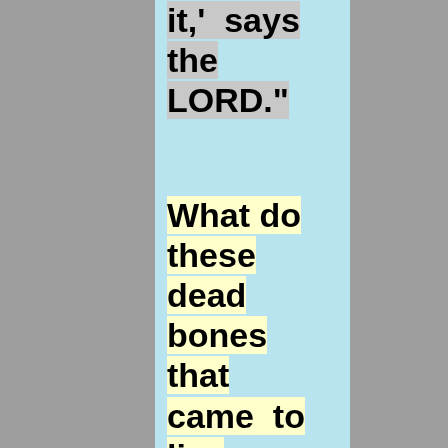it,' says the LORD."
What do these dead bones that came to live represent? There are they who say that Ezekiel is